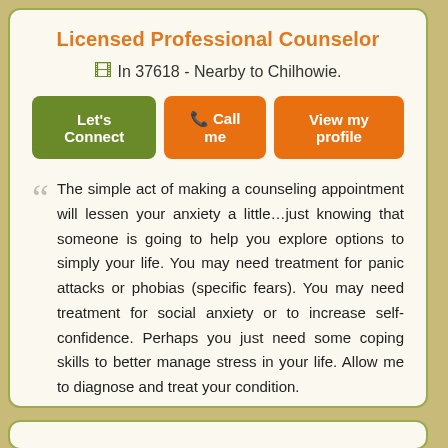Licensed Professional Counselor
In 37618 - Nearby to Chilhowie.
[Figure (other): Three buttons: Let's Connect (green), Call me (orange), View my profile (orange)]
The simple act of making a counseling appointment will lessen your anxiety a little…just knowing that someone is going to help you explore options to simply your life. You may need treatment for panic attacks or phobias (specific fears). You may need treatment for social anxiety or to increase self-confidence. Perhaps you just need some coping skills to better manage stress in your life. Allow me to diagnose and treat your condition.